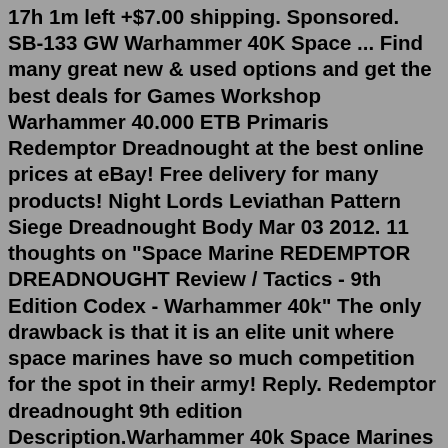17h 1m left +$7.00 shipping. Sponsored. SB-133 GW Warhammer 40K Space ... Find many great new & used options and get the best deals for Games Workshop Warhammer 40.000 ETB Primaris Redemptor Dreadnought at the best online prices at eBay! Free delivery for many products! Night Lords Leviathan Pattern Siege Dreadnought Body Mar 03 2012. 11 thoughts on "Space Marine REDEMPTOR DREADNOUGHT Review / Tactics - 9th Edition Codex - Warhammer 40k" The only drawback is that it is an elite unit where space marines have so much competition for the spot in their army! Reply. Redemptor dreadnought 9th edition Description.Warhammer 40k Space Marines Primaris Redemptor Dreadnought. ... Something went wrong. View cart for details. Redemptor dreadnought points 9th Chaos space marines warhammer 40k publications & rulebooks Warhammer 40k 9th Edition Points I'd say, assuming space marines have never heard of zerg before, they'd be in for a fight